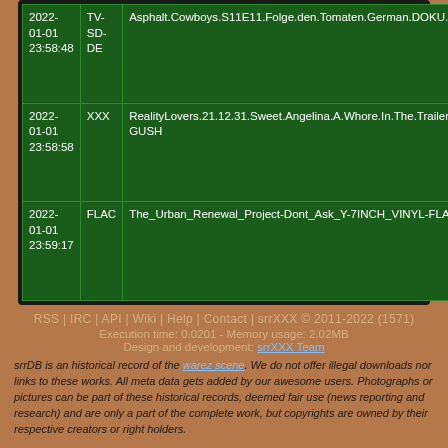| 2022-01-01 23:58:48 | TV-SD-DE | Asphalt.Cowboys.S11E11.Folge.den.Tomaten.German.DOKU.WebRip.x264-ATAX |
| 2022-01-01 23:58:58 | XXX | RealityLovers.21.12.31.Sweet.Angelina.A.Whore.In.The.Trailer.5.XXX.VR180.2700p.MP4-GUSH |
| 2022-01-01 23:59:17 | FLAC | The_Urban_Renewal_Project-Dont_Ask_Y-7INCH_VINYL-FLAC-2017-FrB |
RSS | IRC | API | Wiki | Help | Contact | srrXXX © 2011-2022 (1571)
Execution time: 0.0201 - Memory usage: 2.02MB
Design and development: srrXXX Team
srrDB is an historical record of the warez scene. We do not offer illegal downloads nor links to these works. All meta data gets added by our awesome users. Photographs or pictures can be part of these historical records, deemed fair use (news reporting and research) and are only a part of the complete work, but copyrights are owned by their respective creators or right holders.